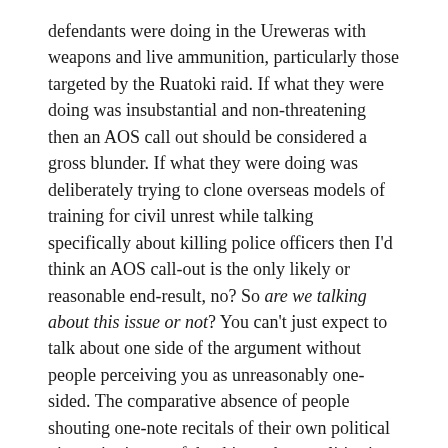defendants were doing in the Ureweras with weapons and live ammunition, particularly those targeted by the Ruatoki raid. If what they were doing was insubstantial and non-threatening then an AOS call out should be considered a gross blunder. If what they were doing was deliberately trying to clone overseas models of training for civil unrest while talking specifically about killing police officers then I'd think an AOS call-out is the only likely or reasonable end-result, no? So are we talking about this issue or not? You can't just expect to talk about one side of the argument without people perceiving you as unreasonably one-sided. The comparative absence of people shouting one-note recitals of their own political viewpoint is one of the things about politics in NZ that redeems it considerably over, for example, the USA. I quite like that, so I'm quite keen on asking people to at least try to see both sides of the argument.
I'm willing. If anybody has some substantial evidence of police wrongdoing then I want to hear it, I want to see it reported to the Police Complaints Authority and I want to know their response. But